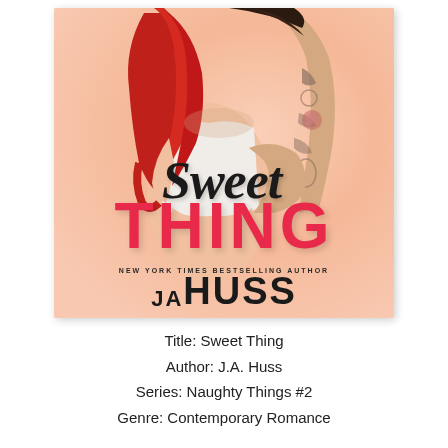[Figure (illustration): Book cover for 'Sweet Thing' by J.A. Huss. Shows a couple embracing intimately — a woman with long red hair and a man with tattoos on his arm. The title 'Sweet' appears in large cursive black font and 'THING' in bold red block letters. Below reads 'NEW YORK TIMES BESTSELLING AUTHOR' and 'JA HUSS' in large bold font. Background is a warm peach/salmon gradient.]
Title: Sweet Thing
Author: J.A. Huss
Series: Naughty Things #2
Genre: Contemporary Romance